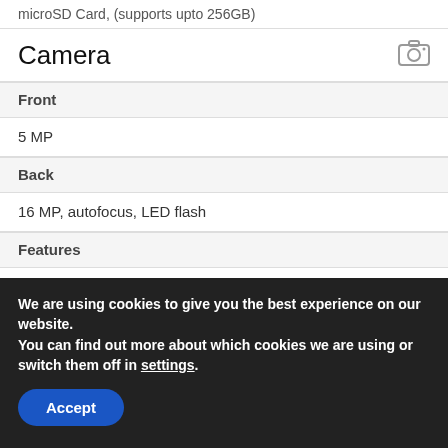microSD Card, (supports upto 256GB)
Camera
| Front |  |
| 5 MP |  |
| Back |  |
| 16 MP, autofocus, LED flash |  |
| Features |  |
| Geo-tagging, touch focus, face detection, HDR, panorama Video (1080p@30fps) |  |
We are using cookies to give you the best experience on our website.
You can find out more about which cookies we are using or switch them off in settings.
Accept